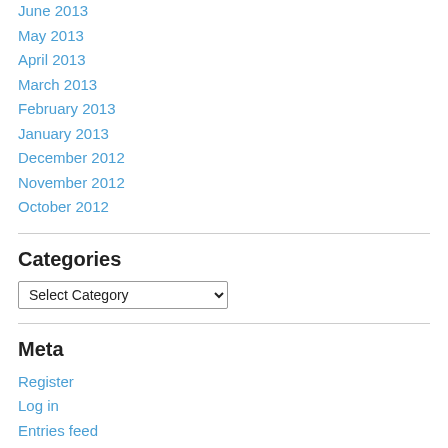June 2013
May 2013
April 2013
March 2013
February 2013
January 2013
December 2012
November 2012
October 2012
Categories
Select Category (dropdown)
Meta
Register
Log in
Entries feed